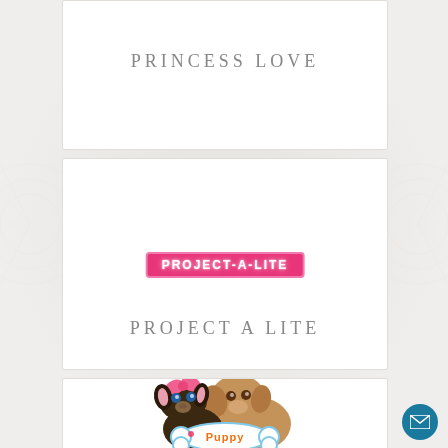PRINCESS LOVE
[Figure (logo): PROJECT-A-LITE pink badge logo with white outlined text on hot pink background with pink border]
PROJECT A LITE
[Figure (illustration): Two cartoon puppies - a Yorkshire Terrier with a pink bow and a brown puppy, holding a sign that reads Puppy]